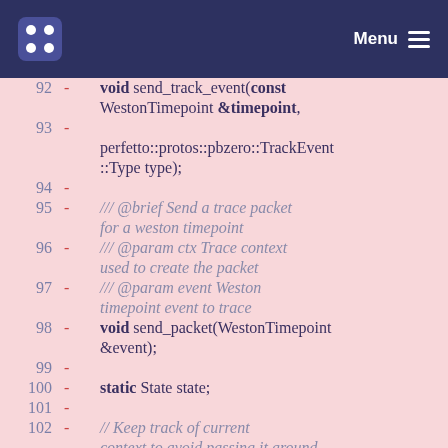Menu
[Figure (screenshot): Code diff viewer showing lines 92-102 of a C++ header file with removed lines (marked with -) on a pink background. Lines include send_track_event, perfetto::protos::pbzero::TrackEvent::Type, send_packet, static State state, and a comment about keeping track of current context.]